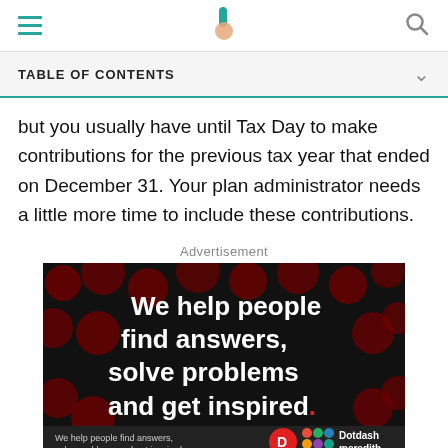Navigation bar with hamburger menu, Investopedia logo, and search icon
TABLE OF CONTENTS
but you usually have until Tax Day to make contributions for the previous tax year that ended on December 31. Your plan administrator needs a little more time to include these contributions.
Advertisement
[Figure (other): Dotdash Meredith advertisement banner. Black background with dark red polka dot circles. Bold white text reads: 'We help people find answers, solve problems and get inspired.' with a red period. Bottom bar shows Dotdash Meredith logo and tagline.]